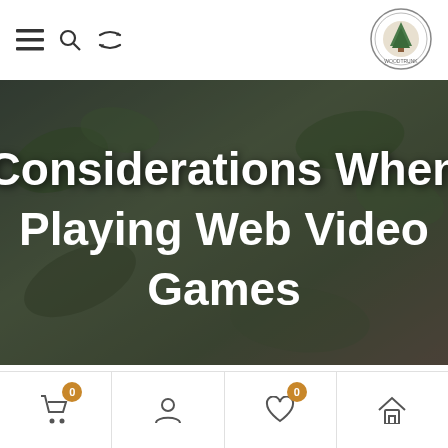Navigation header with menu, search, refresh icons and logo
Considerations When Playing Web Video Games
۱۴۰۱-۰۱-۰۴
دیجی کالا / دسته بندی نشده / 0
Web video games have become a trendy medium with respect to
Bottom navigation bar: cart (0), user, wishlist (0), home